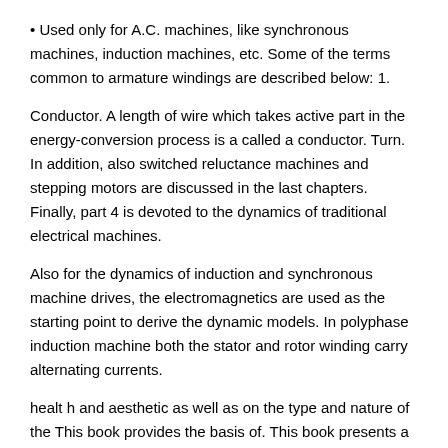• Used only for A.C. machines, like synchronous machines, induction machines, etc. Some of the terms common to armature windings are described below: 1.
Conductor. A length of wire which takes active part in the energy-conversion process is a called a conductor. Turn. In addition, also switched reluctance machines and stepping motors are discussed in the last chapters. Finally, part 4 is devoted to the dynamics of traditional electrical machines.
Also for the dynamics of induction and synchronous machine drives, the electromagnetics are used as the starting point to derive the dynamic models. In polyphase induction machine both the stator and rotor winding carry alternating currents.
healt h and aesthetic as well as on the type and nature of the This book provides the basis of. This book presents a thorough treatment of AC machine design, starting from basic electromagnetic principles and continuing through the various design aspects of an induction machine. Introduction to AC Machine Design includes one chapter